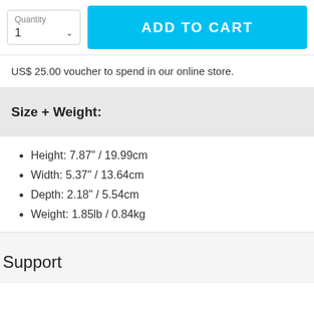[Figure (screenshot): Quantity selector dropdown showing '1' and ADD TO CART button in cyan/blue]
US$ 25.00 voucher to spend in our online store.
Size + Weight:
Height: 7.87" / 19.99cm
Width: 5.37" / 13.64cm
Depth: 2.18" / 5.54cm
Weight: 1.85lb / 0.84kg
Support